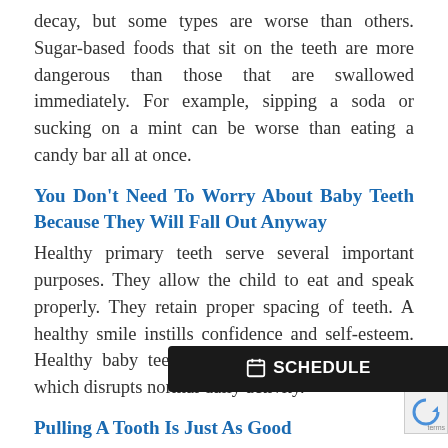decay, but some types are worse than others. Sugar-based foods that sit on the teeth are more dangerous than those that are swallowed immediately. For example, sipping a soda or sucking on a mint can be worse than eating a candy bar all at once.
You Don't Need To Worry About Baby Teeth Because They Will Fall Out Anyway
Healthy primary teeth serve several important purposes. They allow the child to eat and speak properly. They retain proper spacing of teeth. A healthy smile instills confidence and self-esteem. Healthy baby teeth eliminate the pain of decay which disrupts normal daily activity.
Pulling A Tooth Is Just As Goo...
We will let the American Associate of...